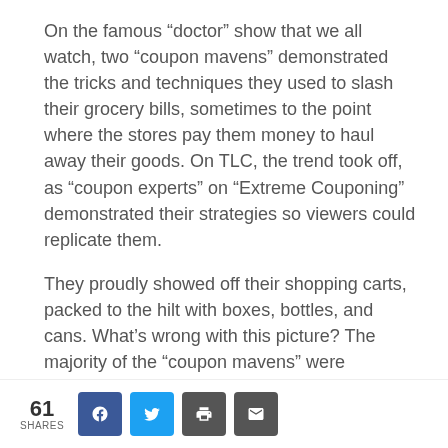On the famous “doctor” show that we all watch, two “coupon mavens” demonstrated the tricks and techniques they used to slash their grocery bills, sometimes to the point where the stores pay them money to haul away their goods. On TLC, the trend took off, as “coupon experts” on “Extreme Couponing” demonstrated their strategies so viewers could replicate them.
They proudly showed off their shopping carts, packed to the hilt with boxes, bottles, and cans. What’s wrong with this picture? The majority of the “coupon mavens” were overweight and looked
61 SHARES